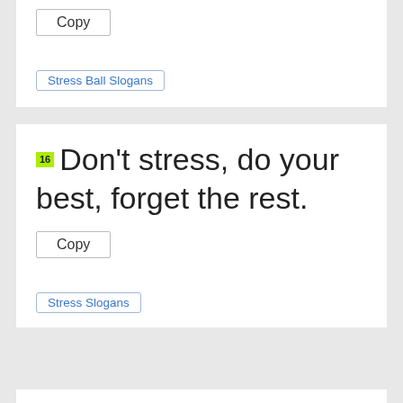Copy
Stress Ball Slogans
16 Don't stress, do your best, forget the rest.
Copy
Stress Slogans
17 Bye bye stress!
Copy
Stress Ball Slogans